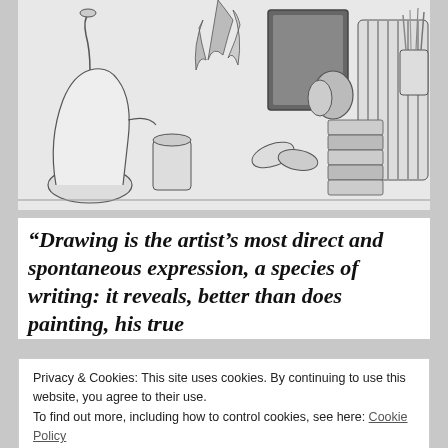[Figure (illustration): Pencil/ink sketch illustration showing a cluttered table or workspace with a kettle, various objects including striped fabric, plants, art supplies, containers, and other items arranged across the scene. Black and white drawing style with hatching.]
“Drawing is the artist’s most direct and spontaneous expression, a species of writing: it reveals, better than does painting, his true
Privacy & Cookies: This site uses cookies. By continuing to use this website, you agree to their use.
To find out more, including how to control cookies, see here: Cookie Policy
Close and accept